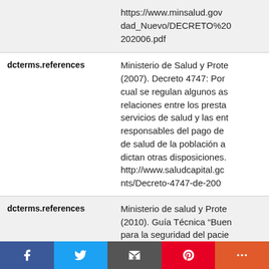|  | https://www.minsalud.gov...dad_Nuevo/DECRETO%20...202006.pdf |
| dcterms.references | Ministerio de Salud y Prote...(2007). Decreto 4747: Por...cual se regulan algunos as...relaciones entre los presta...servicios de salud y las ent...responsables del pago de...de salud de la población a...dictan otras disposiciones....http://www.saludcapital.gc...nts/Decreto-4747-de-200... |
| dcterms.references | Ministerio de salud y Prote...(2010). Guía Técnica “Buen...para la seguridad del pacie...atención en salud”: garant...funcionabilidad de los proc...de consentimiento inform...da |
[Figure (other): Social media share bar with Facebook, Twitter, Email, Pinterest, and More buttons]